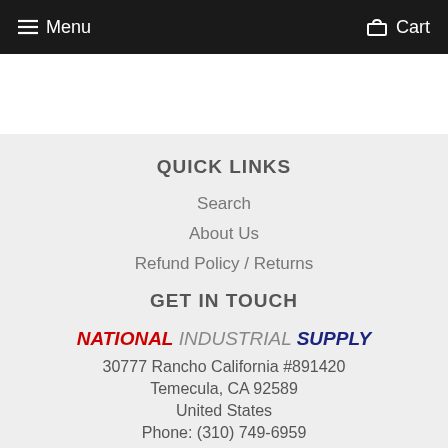Menu   Cart
QUICK LINKS
Search
About Us
Refund Policy / Returns
GET IN TOUCH
NATIONAL INDUSTRIAL SUPPLY
30777 Rancho California #891420
Temecula, CA 92589
United States
Phone: (310) 749-6959